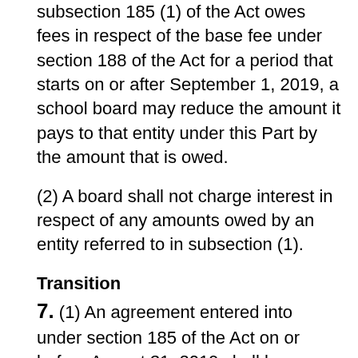subsection 185 (1) of the Act owes fees in respect of the base fee under section 188 of the Act for a period that starts on or after September 1, 2019, a school board may reduce the amount it pays to that entity under this Part by the amount that is owed.
(2) A board shall not charge interest in respect of any amounts owed by an entity referred to in subsection (1).
Transition
7. (1) An agreement entered into under section 185 of the Act on or before August 31, 2019 shall be deemed to include a condition that the fee in a given school board fiscal year that is to be paid by